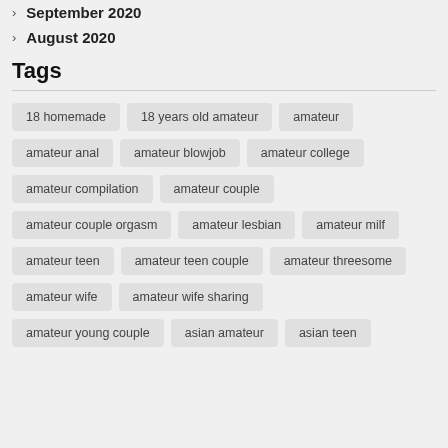September 2020
August 2020
Tags
18 homemade
18 years old amateur
amateur
amateur anal
amateur blowjob
amateur college
amateur compilation
amateur couple
amateur couple orgasm
amateur lesbian
amateur milf
amateur teen
amateur teen couple
amateur threesome
amateur wife
amateur wife sharing
amateur young couple
asian amateur
asian teen